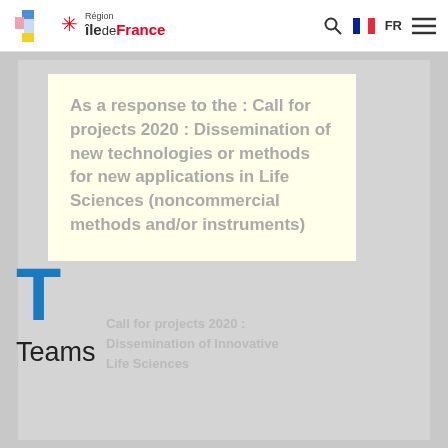Région Île-de-France
[Figure (other): Île-de-France region website header with logo, search icon, French flag, FR label, and hamburger menu]
As a response to the : Call for projects 2020 : Dissemination of new technologies or methods for new applications in Life Sciences (noncommercial methods and/or instruments)
Teams
Call for projects 2020 : Dissemination of Innovative Life Sciences
Wavefront engineering microscopy